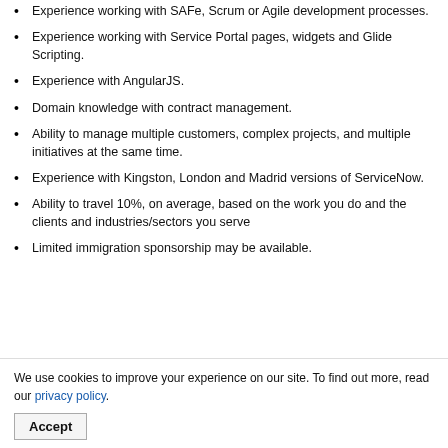Experience working with SAFe, Scrum or Agile development processes.
Experience working with Service Portal pages, widgets and Glide Scripting.
Experience with AngularJS.
Domain knowledge with contract management.
Ability to manage multiple customers, complex projects, and multiple initiatives at the same time.
Experience with Kingston, London and Madrid versions of ServiceNow.
Ability to travel 10%, on average, based on the work you do and the clients and industries/sectors you serve
Limited immigration sponsorship may be available.
We use cookies to improve your experience on our site. To find out more, read our privacy policy.